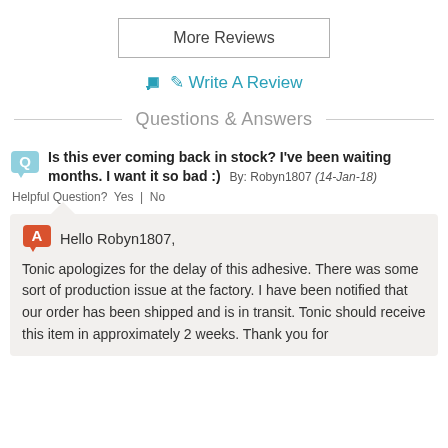More Reviews
✏ Write A Review
Questions & Answers
Is this ever coming back in stock? I've been waiting months. I want it so bad :)  By: Robyn1807 (14-Jan-18)
Helpful Question?  Yes  |  No
Hello Robyn1807,
Tonic apologizes for the delay of this adhesive. There was some sort of production issue at the factory. I have been notified that our order has been shipped and is in transit. Tonic should receive this item in approximately 2 weeks. Thank you for